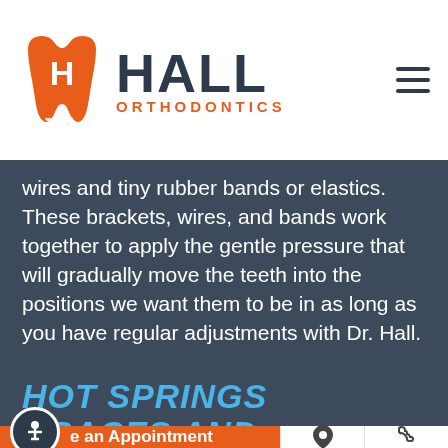[Figure (logo): Hall Orthodontics logo with orange tooth icon and dark blue HALL ORTHODONTICS text]
wires and tiny rubber bands or elastics. These brackets, wires, and bands work together to apply the gentle pressure that will gradually move the teeth into the positions we want them to be in as long as you have regular adjustments with Dr. Hall.
HOT SPRINGS BRACES AND
Make an Appointment  [location icon]  [phone icon]